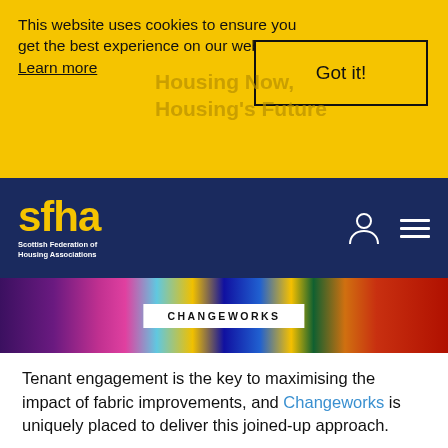This website uses cookies to ensure you get the best experience on our website. Learn more
Got it!
Housing Now, Housing's Future
[Figure (logo): SFHA - Scottish Federation of Housing Associations logo in yellow on dark blue nav bar]
[Figure (photo): Colorful vertical stripe banner with Changeworks badge overlay]
Tenant engagement is the key to maximising the impact of fabric improvements, and Changeworks is uniquely placed to deliver this joined-up approach.
Changeworks, Scotland’s leading charity for delivering low-carbon living, has decades of